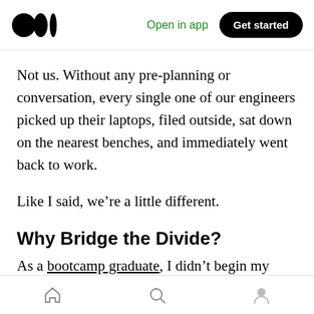Medium app header with logo, Open in app link, and Get started button
Not us. Without any pre-planning or conversation, every single one of our engineers picked up their laptops, filed outside, sat down on the nearest benches, and immediately went back to work.
Like I said, we’re a little different.
Why Bridge the Divide?
As a bootcamp graduate, I didn’t begin my career as a programmer. I’ve worked in a number of different fields — both in and outside tech — and
Bottom navigation bar with home, search, and profile icons